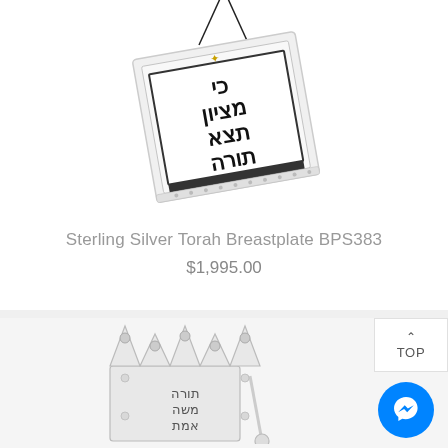[Figure (photo): Sterling Silver Torah Breastplate hanging at an angle, white/silver rectangular plate with Hebrew text and decorative elements, suspended by a black cord]
Sterling Silver Torah Breastplate BPS383
$1,995.00
[Figure (photo): Sterling Silver Torah crown/keter with decorative Hebrew text, partially visible at bottom of page]